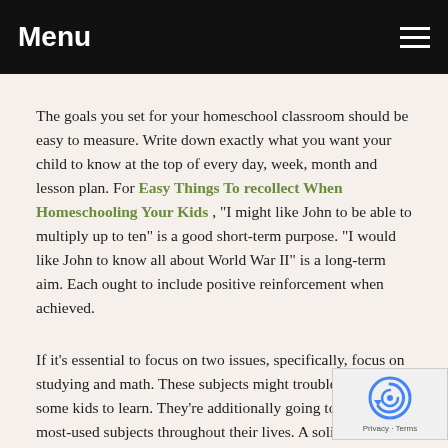Menu
The goals you set for your homeschool classroom should be easy to measure. Write down exactly what you want your child to know at the top of every day, week, month and lesson plan. For Easy Things To recollect When Homeschooling Your Kids , "I might like John to be able to multiply up to ten" is a good short-term purpose. "I would like John to know all about World War II" is a long-term aim. Each ought to include positive reinforcement when achieved.
If it's essential to focus on two issues, specifically, focus on studying and math. These subjects might troublesome for some kids to learn. They're additionally going to be the most-used subjects throughout their lives. A solid mathematics and